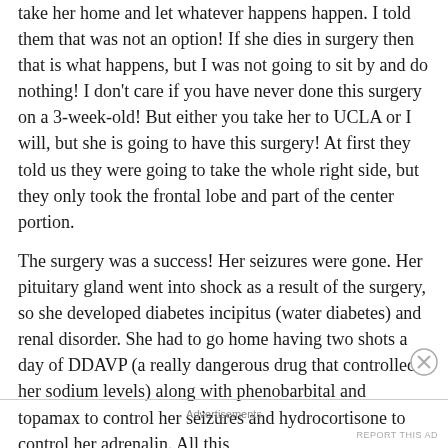take her home and let whatever happens happen. I told them that was not an option! If she dies in surgery then that is what happens, but I was not going to sit by and do nothing! I don't care if you have never done this surgery on a 3-week-old! But either you take her to UCLA or I will, but she is going to have this surgery! At first they told us they were going to take the whole right side, but they only took the frontal lobe and part of the center portion.
The surgery was a success! Her seizures were gone. Her pituitary gland went into shock as a result of the surgery, so she developed diabetes incipitus (water diabetes) and renal disorder. She had to go home having two shots a day of DDAVP (a really dangerous drug that controlled her sodium levels) along with phenobarbital and topamax to control her seizures and hydrocortisone to control her adrenalin. All this
Advertisements